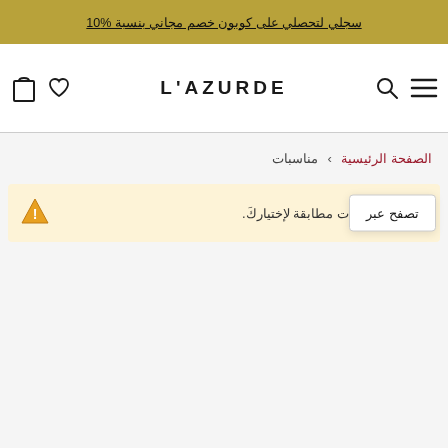سجلي لتحصلي على كوبون خصم مجاني بنسبة %10
[Figure (logo): L'AZURDE brand logo with shopping bag icon, heart icon, search icon, and hamburger menu icon]
الصفحة الرئيسية › مناسبات
ور على منتجات مطابقة لإختياركَ.
تصفح عبر